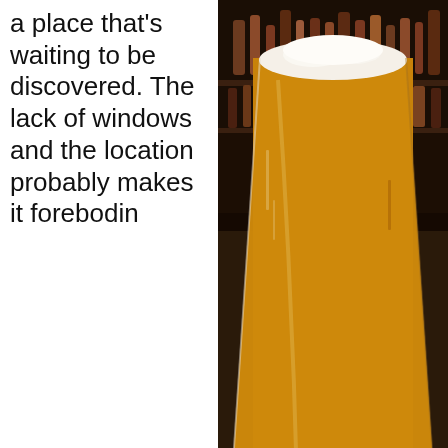a place that's waiting to be discovered. The lack of windows and the location probably makes it forebodin
[Figure (photo): A pint glass of golden/amber beer with a foamy head sitting on a wooden bar counter, with bar shelves and bottles visible in the background.]
Privacy & Cookies: This site uses cookies. By continuing to use this website, you agree to their use.
To find out more, including how to control cookies, see here: Cookie Policy
Close and accept